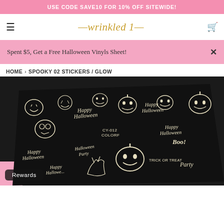USE CODE SAVE10 FOR 10% OFF SITEWIDE!
wrinkled 1
Spent $5, Get a Free Halloween Vinyls Sheet!
HOME  ›  SPOOKY 02 STICKERS / GLOW
[Figure (photo): Close-up product photo of black nail art sticker sheet with glow-in-the-dark white Halloween designs including jack-o-lanterns, 'Happy Halloween' text, 'Boo!', 'Trick or Treat', 'Party' and a black cat. Brand label reads CY-012 COLORF.]
Rewards